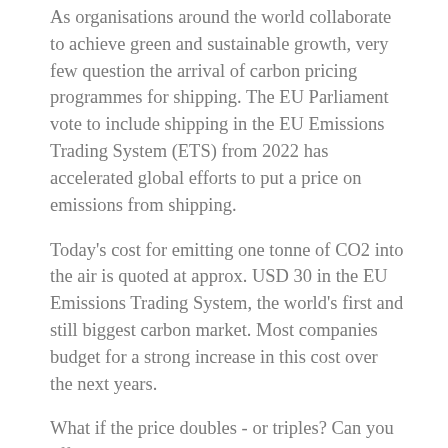As organisations around the world collaborate to achieve green and sustainable growth, very few question the arrival of carbon pricing programmes for shipping. The EU Parliament vote to include shipping in the EU Emissions Trading System (ETS) from 2022 has accelerated global efforts to put a price on emissions from shipping.
Today's cost for emitting one tonne of CO2 into the air is quoted at approx. USD 30 in the EU Emissions Trading System, the world's first and still biggest carbon market. Most companies budget for a strong increase in this cost over the next years.
What if the price doubles - or triples? Can you afford to be unprepared?
If one were to add emission cost on to today's freight cost, this would increase the freight rates of various tanker types by 4-12 % at current rates.